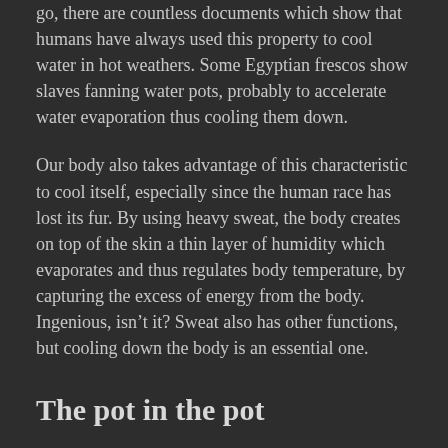go, there are countless documents which show that humans have always used this property to cool water in hot weathers. Some Egyptian frescos show slaves fanning water pots, probably to accelerate water evaporation thus cooling them down.
Our body also takes advantage of this characteristic to cool itself, especially since the human race has lost its fur. By using heavy sweat, the body creates on top of the skin a thin layer of humidity which evaporates and thus regulates body temperature, by capturing the excess of energy from the body. Ingenious, isn’t it? Sweat also has other functions, but cooling down the body is an essential one.
The pot in the pot
In hot countries, people use a technique called “the